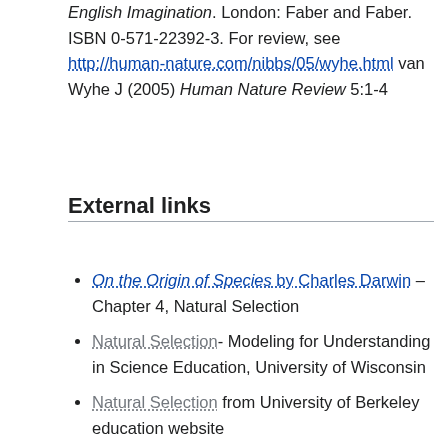English Imagination. London: Faber and Faber. ISBN 0-571-22392-3. For review, see http://human-nature.com/nibbs/05/wyhe.html van Wyhe J (2005) Human Nature Review 5:1-4
External links
On the Origin of Species by Charles Darwin – Chapter 4, Natural Selection
Natural Selection- Modeling for Understanding in Science Education, University of Wisconsin
Natural Selection from University of Berkeley education website
T. Ryan Gregory: Understanding Natural...